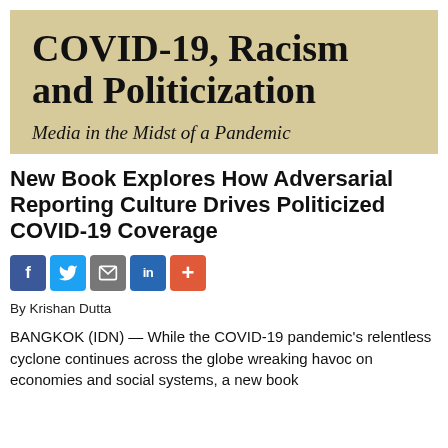COVID-19, Racism and Politicization
Media in the Midst of a Pandemic
New Book Explores How Adversarial Reporting Culture Drives Politicized COVID-19 Coverage
[Figure (infographic): Social media sharing icons: Facebook, Twitter, Email, LinkedIn, More]
By Krishan Dutta
BANGKOK (IDN) — While the COVID-19 pandemic's relentless cyclone continues across the globe wreaking havoc on economies and social systems, a new book